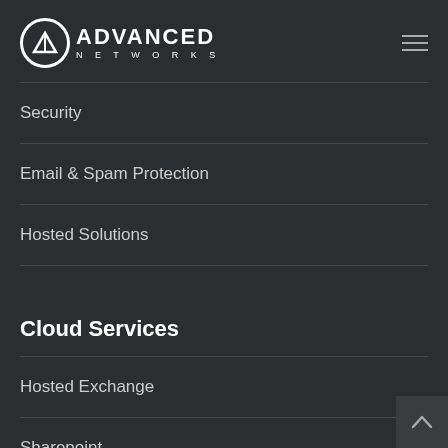Advanced Networks
Security
Email & Spam Protection
Hosted Solutions
Cloud Services
Hosted Exchange
Sharepoint
Cloud Office